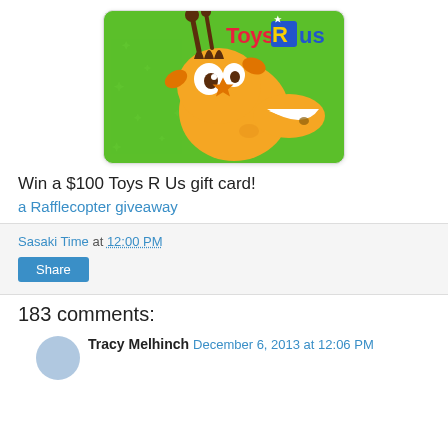[Figure (illustration): Toys R Us gift card featuring cartoon giraffe Geoffrey on a green background with stars, with 'ToysRUs' logo in colorful letters top right]
Win a $100 Toys R Us gift card!
a Rafflecopter giveaway
Sasaki Time at 12:00 PM
Share
183 comments:
Tracy Melhinch  December 6, 2013 at 12:06 PM